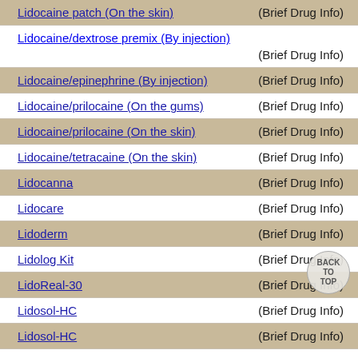Lidocaine patch (On the skin) (Brief Drug Info)
Lidocaine/dextrose premix (By injection) (Brief Drug Info)
Lidocaine/epinephrine (By injection) (Brief Drug Info)
Lidocaine/prilocaine (On the gums) (Brief Drug Info)
Lidocaine/prilocaine (On the skin) (Brief Drug Info)
Lidocaine/tetracaine (On the skin) (Brief Drug Info)
Lidocanna (Brief Drug Info)
Lidocare (Brief Drug Info)
Lidoderm (Brief Drug Info)
Lidolog Kit (Brief Drug Info)
LidoReal-30 (Brief Drug Info)
Lidosol-HC (Brief Drug Info)
Lidosol-HC (Brief Drug Info)